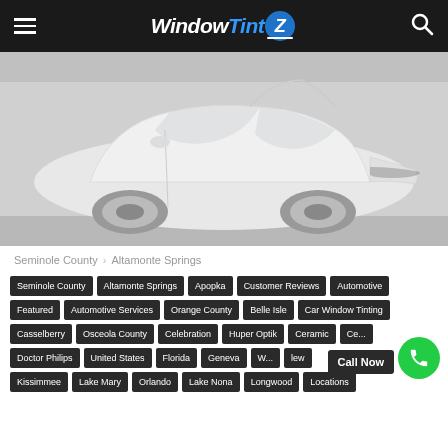WindowTintZ — navigation header
[Figure (photo): White Tesla Model X SUV parked in a light gray garage setting, used as hero image for window tinting service website]
Seminole County › Altamonte Springs
Seminole County
Altamonte Springs
Apopka
Customer Reviews
Automotive
Featured
Automotive Services
Orange County
Belle Isle
Car Window Tinting
Casselberry
Osceola County
Celebration
Huper Optik
Ceramic
Doctor Philips
United States
Florida
Geneva
Kissimmee
Lake Mary
Orlando
Lake Nona
Longwood
Locations